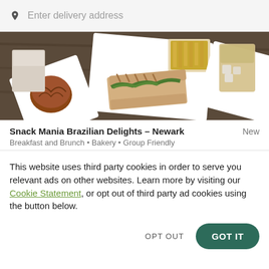Enter delivery address
[Figure (photo): Food photo showing plates of fries, sandwich with greens, a pastry/bread item, and a glass of iced drink on a wooden table]
Snack Mania Brazilian Delights – Newark   New
Breakfast and Brunch • Bakery • Group Friendly
This website uses third party cookies in order to serve you relevant ads on other websites. Learn more by visiting our Cookie Statement, or opt out of third party ad cookies using the button below.
OPT OUT   GOT IT